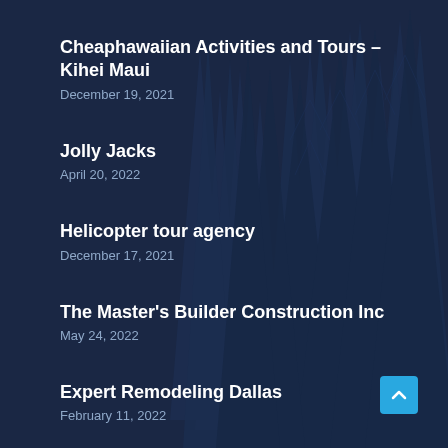Cheaphawaiian Activities and Tours – Kihei Maui
December 19, 2021
Jolly Jacks
April 20, 2022
Helicopter tour agency
December 17, 2021
The Master's Builder Construction Inc
May 24, 2022
Expert Remodeling Dallas
February 11, 2022